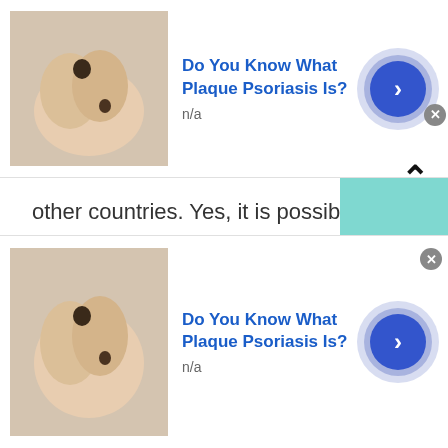[Figure (infographic): Advertisement banner: skin/hand image on left, 'Do You Know What Plaque Psoriasis Is?' title in blue, 'n/a' subtitle, circular arrow button on right, close button]
other countries. Yes, it is possible once you join TWS free chat or secret chat and enjoy chat random rooms without any judgment. You don't need to share your personal information. Just choose your desired nickname and you are all set to talk to strangers in Thailand or worldwide.
Stranger chat
TWS stranger chat is completely safe, secure a
[Figure (infographic): Advertisement banner (bottom): skin/hand image on left, 'Do You Know What Plaque Psoriasis Is?' title in blue, 'n/a' subtitle, circular arrow button on right, close button]